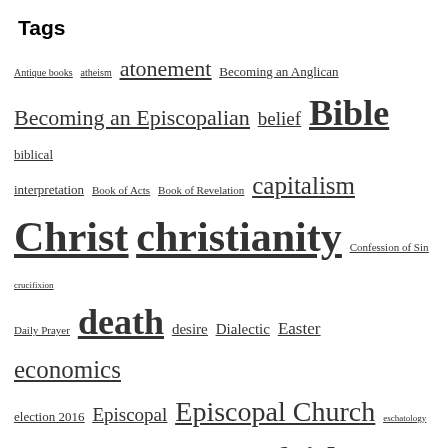Tags
Antique books atheism atonement Becoming an Anglican Becoming an Episcopalian belief Bible biblical interpretation Book of Acts Book of Revelation capitalism Christ christianity Confession of Sin crucifixion Daily Prayer death desire Dialectic Easter economics election 2016 Episcopal Episcopal Church eschatology existential angst existentialism Exodus: Gods and Kings faith ghosts God gospel Gospel of John Gospel of Luke Gospel of Mark grace Grief grieving process heaven Hell hope idolatry incarnation Jesus judgment Lacan liturgy loss loss of father loss of